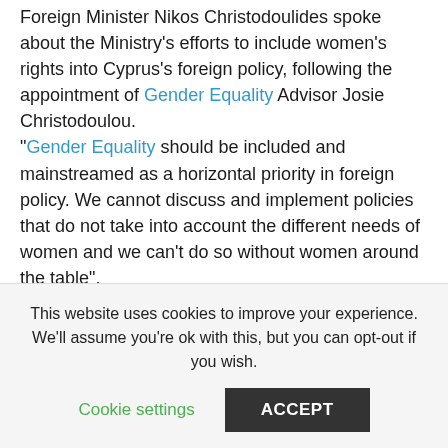Foreign Minister Nikos Christodoulides spoke about the Ministry's efforts to include women's rights into Cyprus's foreign policy, following the appointment of Gender Equality Advisor Josie Christodoulou.
"Gender Equality should be included and mainstreamed as a horizontal priority in foreign policy. We cannot discuss and implement policies that do not take into account the different needs of women and we can't do so without women around the table", Christodoulides said.
He added that the Ministry drafted a framework of actions,
This website uses cookies to improve your experience. We'll assume you're ok with this, but you can opt-out if you wish.